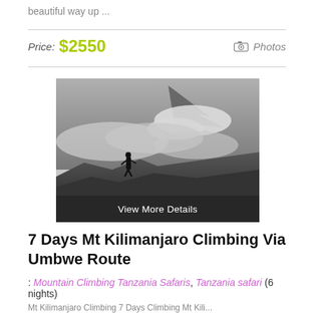beautiful way up ...
Price: $2550
Photos
[Figure (photo): Black and white photo of a person standing on a rocky mountain slope with dramatic clouds and a snow-capped peak in the background. A 'View More Details' overlay bar appears at the bottom.]
7 Days Mt Kilimanjaro Climbing Via Umbwe Route
: Mountain Climbing Tanzania Safaris, Tanzania safari (6 nights)
Mt Kilimanjaro Climbing 7 Days Climbing Mt Kili...